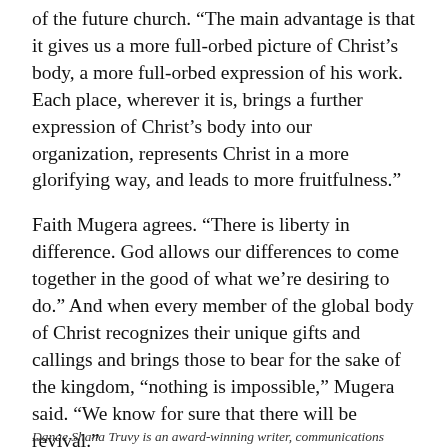of the future church. “The main advantage is that it gives us a more full-orbed picture of Christ’s body, a more full-orbed expression of his work. Each place, wherever it is, brings a further expression of Christ’s body into our organization, represents Christ in a more glorifying way, and leads to more fruitfulness.”
Faith Mugera agrees. “There is liberty in difference. God allows our differences to come together in the good of what we’re desiring to do.” And when every member of the global body of Christ recognizes their unique gifts and callings and brings those to bear for the sake of the kingdom, “nothing is impossible,” Mugera said. “We know for sure that there will be revival.”
Danae Shana Truvy is an award-winning writer, communications